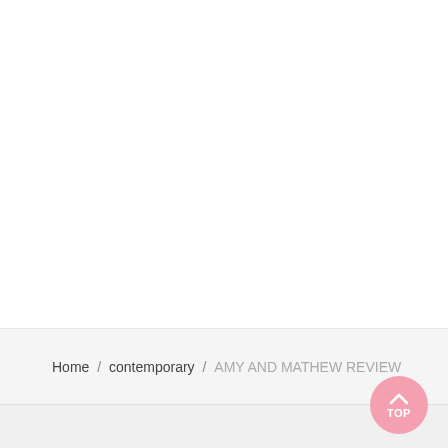Home / contemporary / AMY AND MATHEW REVIEW